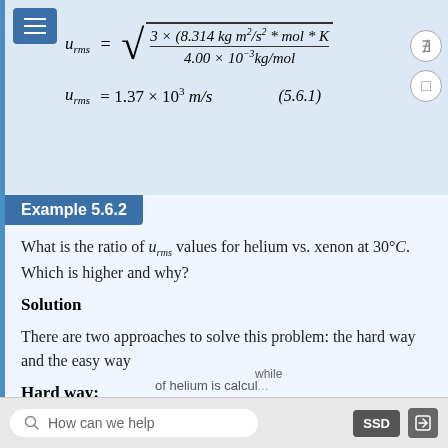Example 5.6.2
What is the ratio of u_rms values for helium vs. xenon at 30°C. Which is higher and why?
Solution
There are two approaches to solve this problem: the hard way and the easy way
Hard way:
How can we help